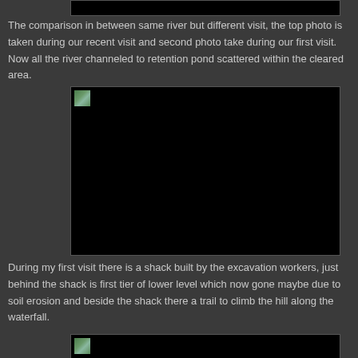[Figure (photo): Partially visible top of a photo at the very top of the page, mostly black/dark, representing a river scene]
The comparison in between same river but different visit, the top photo is taken during our recent visit and second photo take during our first visit. Now all the river channeled to retention pond scattered within the cleared area.
[Figure (photo): A large dark/black photo of a river or landscape scene, with a broken image icon in the top-left corner]
During my first visit there is a shack built by the excavation workers, just behind the shack is first tier of lower level which now gone maybe due to soil erosion and beside the shack there a trail to climb the hill along the waterfall.
[Figure (photo): Bottom of page partially visible photo, dark/black, with broken image icon in top-left]